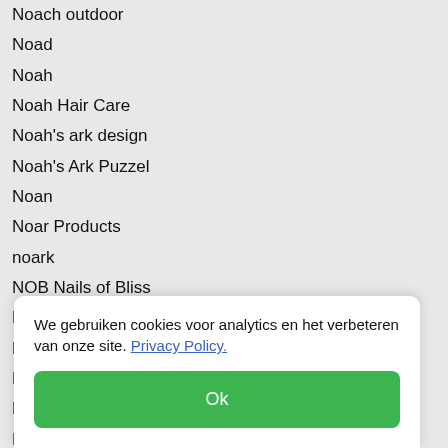Noach outdoor
Noad
Noah
Noah Hair Care
Noah's ark design
Noah's Ark Puzzel
Noan
Noar Products
noark
NOB Nails of Bliss
Noba
Nobamask
Nobbon Studios
Nobby
Nobby
NOBB
NOBE
Nobel
Nobel
We gebruiken cookies voor analytics en het verbeteren van onze site. Privacy Policy.
Ok